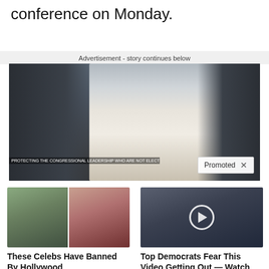conference on Monday.
Advertisement - story continues below
[Figure (photo): A man in a white shirt speaking into a microphone and pointing with one finger, at what appears to be an outdoor political rally. There is a 'Promoted X' badge overlay in the bottom right corner.]
[Figure (photo): Two celebrity women side by side: one in casual outdoor wear, one in a red dress with blonde hair.]
These Celebs Have Banned By Hollywood
🔥 3,507
[Figure (photo): A woman at an outdoor event; video play button overlay in center.]
Top Democrats Fear This Video Getting Out — Watch Now Before It's Banned
🔥 75,541